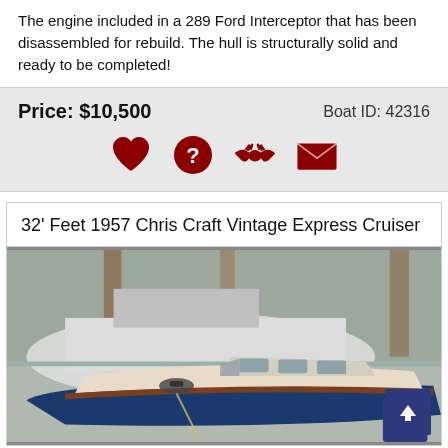The engine included in a 289 Ford Interceptor that has been disassembled for rebuild. The hull is structurally solid and ready to be completed!
Price: $10,500   Boat ID: 42316
[Figure (infographic): Row of four dark red icons: heart (favorite), question mark (info), handshake (contact), envelope (email)]
32' Feet 1957 Chris Craft Vintage Express Cruiser
[Figure (photo): Photo of a 1957 Chris Craft Vintage Express Cruiser boat, blue and wood finish, docked at a marina. A dark navy back-to-top arrow button is visible in the bottom right corner.]